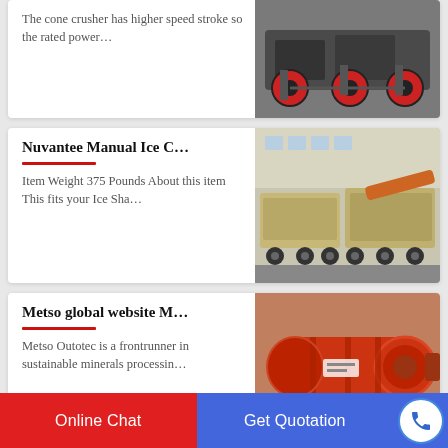The cone crusher has higher speed stroke so the rated power…
[Figure (photo): Photo of cone crusher machinery with red wheels on grey metal frame]
Nuvantee Manual Ice C…
Item Weight 375 Pounds About this item This fits your Ice Sha…
[Figure (photo): Photo of large industrial crushers in a factory/warehouse setting, beige/tan colored machines on flatbed trailers]
Metso global website M…
Metso Outotec is a frontrunner in sustainable minerals processin…
[Figure (photo): Photo of a large red cylindrical ball mill machine in an industrial setting]
Online Chat   Get Quotation